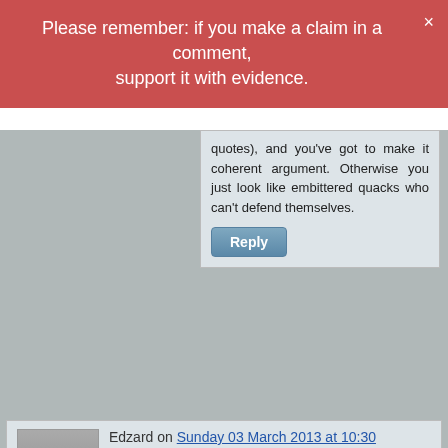Please remember: if you make a claim in a comment, support it with evidence.
quotes), and you've got to make it coherent argument. Otherwise you just look like embittered quacks who can't defend themselves.
Edzard on Sunday 03 March 2013 at 10:30
yes, i agree that growing up would be a good thing. however, i do not see why i cannot be a bit angry some time. this does not mean that i am biased; it
This website uses necessary cookies to make it work and to remember your preferences. Click on 'Cookie settings' to control your consent for other cookies or click on 'Accept all' to consent to the use of all cookies. By continuing to browse this website you are agreeing to our Privacy policy.